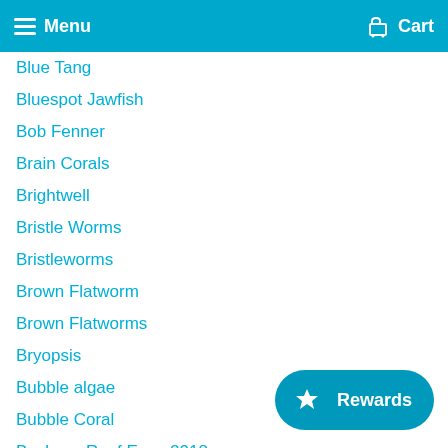Menu   Cart
Blue Tang
Bluespot Jawfish
Bob Fenner
Brain Corals
Brightwell
Bristle Worms
Bristleworms
Brown Flatworm
Brown Flatworms
Bryopsis
Bubble algae
Bubble Coral
Buckeye Reef Expo 2018
Button Polyp Corals
Button Polyps